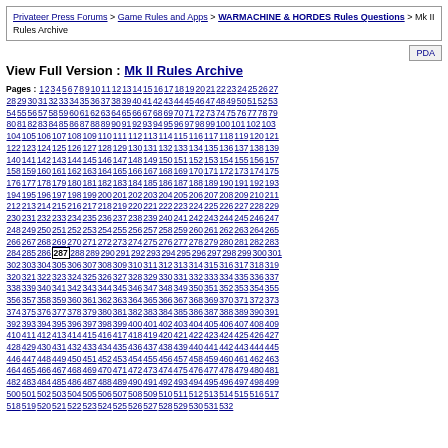Privateer Press Forums > Game Rules and Apps > WARMACHINE & HORDES Rules Questions > Mk II Rules Archive
View Full Version : Mk II Rules Archive
Pages : 1 2 3 4 5 6 7 8 9 10 11 12 13 14 15 16 17 18 19 20 21 22 23 24 25 26 27 28 29 30 31 32 33 34 35 36 37 38 39 40 41 42 43 44 45 46 47 48 49 50 51 52 53 54 55 56 57 58 59 60 61 62 63 64 65 66 67 68 69 70 71 72 73 74 75 76 77 78 79 80 81 82 83 84 85 86 87 88 89 90 91 92 93 94 95 96 97 98 99 100 101 102 103 104 105 106 107 108 109 110 111 112 113 114 115 116 117 118 119 120 121 122 123 124 125 126 127 128 129 130 131 132 133 134 135 136 137 138 139 140 141 142 143 144 145 146 147 148 149 150 151 152 153 154 155 156 157 158 159 160 161 162 163 164 165 166 167 168 169 170 171 172 173 174 175 176 177 178 179 180 181 182 183 184 185 186 187 188 189 190 191 192 193 194 195 196 197 198 199 200 201 202 203 204 205 206 207 208 209 210 211 212 213 214 215 216 217 218 219 220 221 222 223 224 225 226 227 228 229 230 231 232 233 234 235 236 237 238 239 240 241 242 243 244 245 246 247 248 249 250 251 252 253 254 255 256 257 258 259 260 261 262 263 264 265 266 267 268 269 270 271 272 273 274 275 276 277 278 279 280 281 282 283 284 285 286 [287] 288 289 290 291 292 293 294 295 296 297 298 299 300 301 302 303 304 305 306 307 308 309 310 311 312 313 314 315 316 317 318 319 320 321 322 323 324 325 326 327 328 329 330 331 332 333 334 335 336 337 338 339 340 341 342 343 344 345 346 347 348 349 350 351 352 353 354 355 356 357 358 359 360 361 362 363 364 365 366 367 368 369 370 371 372 373 374 375 376 377 378 379 380 381 382 383 384 385 386 387 388 389 390 391 392 393 394 395 396 397 398 399 400 401 402 403 404 405 406 407 408 409 410 411 412 413 414 415 416 417 418 419 420 421 422 423 424 425 426 427 428 429 430 431 432 433 434 435 436 437 438 439 440 441 442 443 444 445 446 447 448 449 450 451 452 453 454 455 456 457 458 459 460 461 462 463 464 465 466 467 468 469 470 471 472 473 474 475 476 477 478 479 480 481 482 483 484 485 486 487 488 489 490 491 492 493 494 495 496 497 498 499 500 501 502 503 504 505 506 507 508 509 510 511 512 513 514 515 516 517 518 519 520 521 522 523 524 525 526 527 528 529 530 531 532